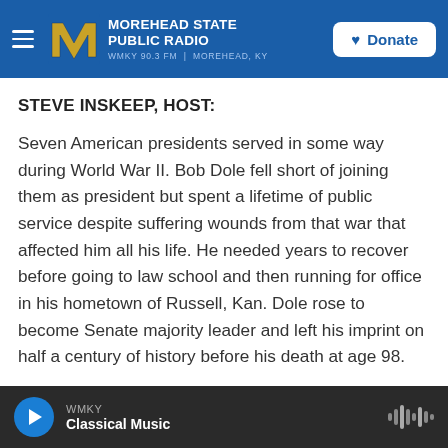Morehead State Public Radio — WMKY 90.3 FM | Morehead, KY — Donate
STEVE INSKEEP, HOST:
Seven American presidents served in some way during World War II. Bob Dole fell short of joining them as president but spent a lifetime of public service despite suffering wounds from that war that affected him all his life. He needed years to recover before going to law school and then running for office in his hometown of Russell, Kan. Dole rose to become Senate majority leader and left his imprint on half a century of history before his death at age 98.
WMKY — Classical Music